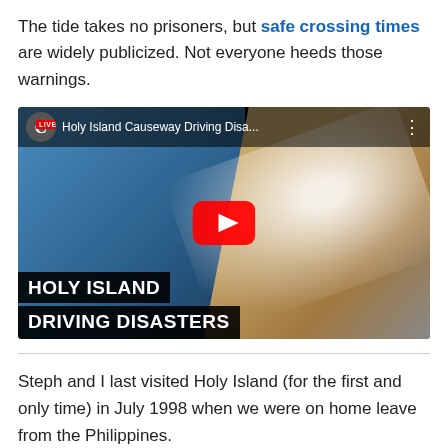The tide takes no prisoners, but safe crossing times are widely publicized. Not everyone heeds those warnings.
[Figure (screenshot): YouTube video thumbnail titled 'Holy Island Causeway Driving Disa...' showing an aerial view of a car being overtaken by waves on a causeway. Bold white text overlays read 'HOLY ISLAND DRIVING DISASTERS'. A red YouTube play button is centered on the thumbnail.]
Steph and I last visited Holy Island (for the first and only time) in July 1998 when we were on home leave from the Philippines.